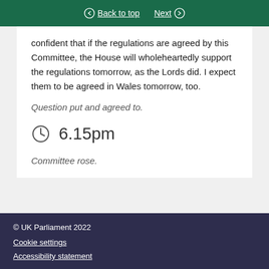Back to top | Next
confident that if the regulations are agreed by this Committee, the House will wholeheartedly support the regulations tomorrow, as the Lords did. I expect them to be agreed in Wales tomorrow, too.
Question put and agreed to.
6.15pm
Committee rose.
© UK Parliament 2022
Cookie settings
Accessibility statement